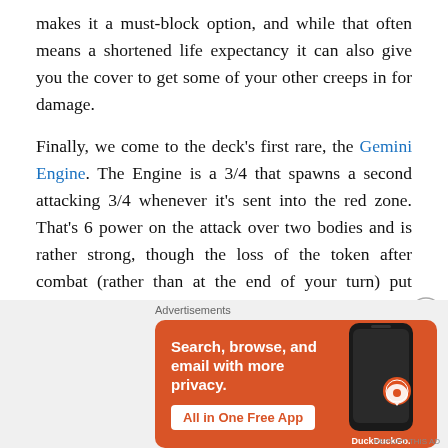makes it a must-block option, and while that often means a shortened life expectancy it can also give you the cover to get some of your other creeps in for damage.
Finally, we come to the deck's first rare, the Gemini Engine. The Engine is a 3/4 that spawns a second attacking 3/4 whenever it's sent into the red zone. That's 6 power on the attack over two bodies and is rather strong, though the loss of the token after combat (rather than at the end of your turn) put something of a damper on gleaning extra value from sacrificing it through one of your outlets.
[Figure (other): DuckDuckGo advertisement banner with orange background. Text reads 'Search, browse, and email with more privacy. All in One Free App' with a DuckDuckGo logo and smartphone image.]